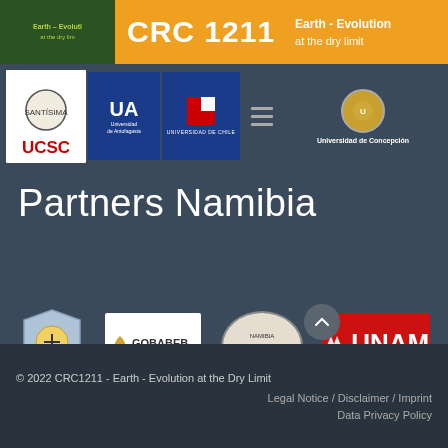CRC 1211 — Earth - Evolution at the dry limit
[Figure (logo): UCSC university logo with red text]
[Figure (logo): UA Universidad de Antofagasta blue logo]
[Figure (logo): Universidad de Chile blue logo]
[Figure (logo): Universidad de Concepción seal and text]
Partners Namibia
[Figure (logo): Namibia shield logo]
[Figure (logo): GOBABEB Mars Research Institute logo]
[Figure (logo): NUST oval seal logo]
[Figure (logo): UNAM University of Namibia red logo]
© 2022 CRC1211 - Earth - Evolution at the Dry Limit
Legal Notice / Disclaimer / Imprint
Data Privacy Policy